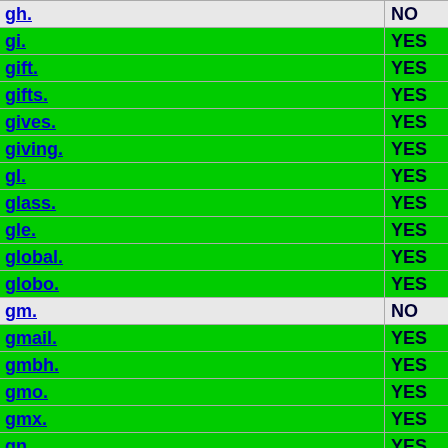| Domain | Col1 | Col2 | Col3 |
| --- | --- | --- | --- |
| gh. | NO | NO | NO |
| gi. | YES | YES | NO |
| gift. | YES | YES | NO |
| gifts. | YES | YES | NO |
| gives. | YES | YES | NO |
| giving. | YES | YES | NO |
| gl. | YES | YES | NO |
| glass. | YES | YES | NO |
| gle. | YES | YES | NO |
| global. | YES | YES | NO |
| globo. | YES | YES | NO |
| gm. | NO | NO | NO |
| gmail. | YES | YES | NO |
| gmbh. | YES | YES | NO |
| gmo. | YES | YES | NO |
| gmx. | YES | YES | NO |
| gn. | YES | YES | NO |
| godaddy. | YES | YES | NO |
| gold. | YES | YES | NO |
| goldpoint. | YES | YES | NO |
| golf. | YES | YES | NO |